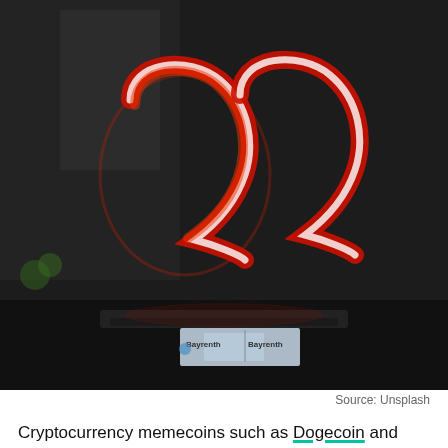[Figure (photo): A red and white neon sign shaped like cursive letters 'aa' on a dark reflective surface, with a Bayrenth/Bayreuth sign visible in the foreground. Dark background with window light.]
Source: Unsplash
Cryptocurrency memecoins such as Dogecoin and Shiba Inu saw their valuations explode in 2021. This gave way to further canine cryptocurrencies such as Floki Inu. The relatively cheaper and newer coin for potential investors to jump in, especially after missing DOGE's bull run. This was exactly idea here behind promoting this coin.